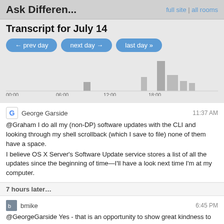Ask Differen...   full site | all rooms
Transcript for July 14
[Figure (bar-chart): Activity by hour]
George Garside  11:37 AM
@Graham I do all my (non-DP) software updates with the CLI and looking through my shell scrollback (which I save to file) none of them have a space.
I believe OS X Server's Software Update service stores a list of all the updates since the beginning of time—I'll have a look next time I'm at my computer.
7 hours later…
bmike  6:45 PM
@GeorgeGarside Yes - that is an opportunity to show great kindness to newcomers.
@GrahamPerrin No I haven't.
It would likely break things in the expected ways...
1 hour later…
George Garside  8:15 PM
@bmike It was in jest (for anyone who thought I was serious); I agree with your statement too